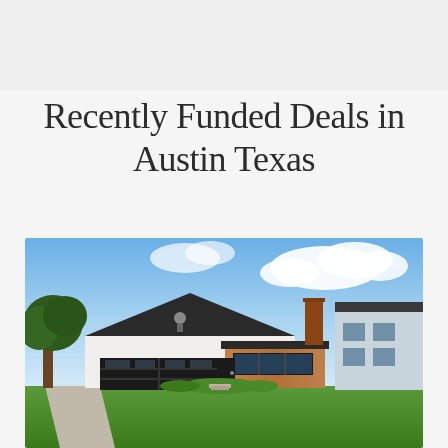Recently Funded Deals in Austin Texas
[Figure (photo): Exterior photo of a modern single-story home with white siding, dark roof, black garage door, wood accent facade section, green lawn, and blue sky with clouds in Austin, Texas.]